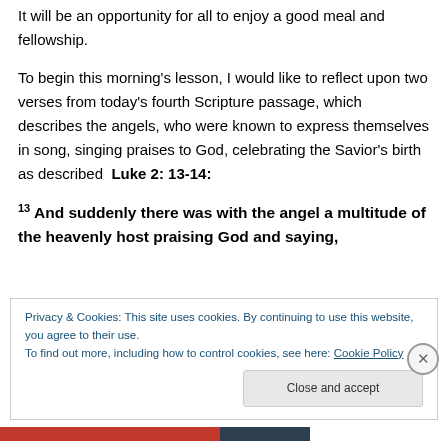It will be an opportunity for all to enjoy a good meal and fellowship.
To begin this morning’s lesson, I would like to reflect upon two verses from today’s fourth Scripture passage, which describes the angels, who were known to express themselves in song, singing praises to God, celebrating the Savior’s birth as described  Luke 2: 13-14:
13 And suddenly there was with the angel a multitude of the heavenly host praising God and saying,
Privacy & Cookies: This site uses cookies. By continuing to use this website, you agree to their use.
To find out more, including how to control cookies, see here: Cookie Policy